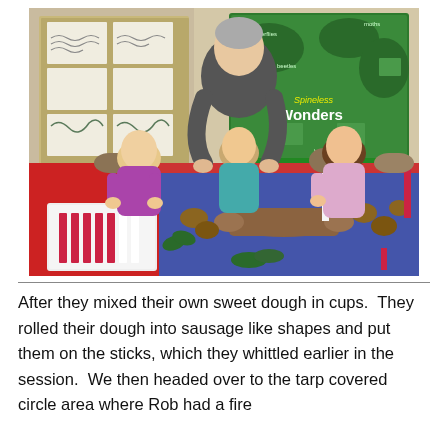[Figure (photo): A teacher or adult leans over a table helping three young children with a craft activity involving candles, pine cones, and natural materials on a table covered with red and blue tablecloths. In the background are educational posters including a 'Spineless Wonders' display about insects and printed papers with drawings.]
After they mixed their own sweet dough in cups.  They rolled their dough into sausage like shapes and put them on the sticks, which they whittled earlier in the session.  We then headed over to the tarp covered circle area where Rob had a fire